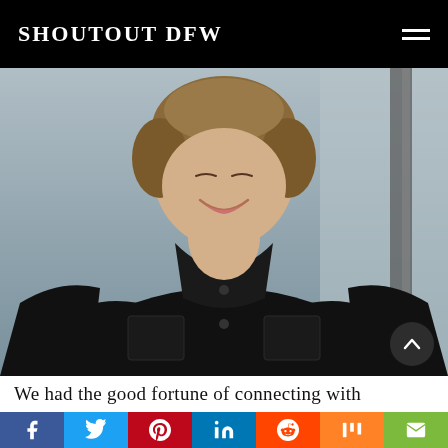SHOUTOUT DFW
[Figure (photo): Woman with short blonde hair, smiling, wearing a black short-sleeve button-up shirt, photographed from torso up against a light background]
We had the good fortune of connecting with
[Figure (infographic): Social sharing bar with buttons: Facebook (blue), Twitter (light blue), Pinterest (red), LinkedIn (blue), Reddit (orange-red), Mix (orange), Email (green)]